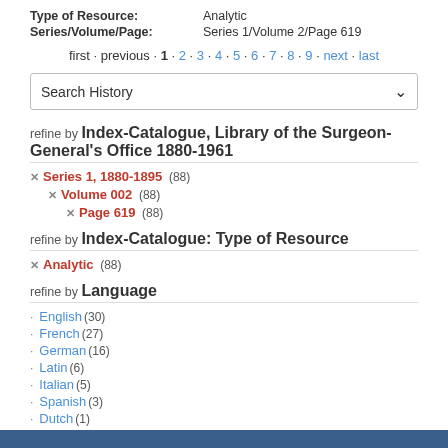| Field | Value |
| --- | --- |
| Type of Resource: | Analytic |
| Series/Volume/Page: | Series 1/Volume 2/Page 619 |
first · previous · 1 · 2 · 3 · 4 · 5 · 6 · 7 · 8 · 9 · next · last
Search History
refine by Index-Catalogue, Library of the Surgeon-General's Office 1880-1961
× Series 1, 1880-1895 (88)
  × Volume 002 (88)
    × Page 619 (88)
refine by Index-Catalogue: Type of Resource
× Analytic (88)
refine by Language
· English (30)
· French (27)
· German (16)
· Latin (6)
· Italian (5)
· Spanish (3)
· Dutch (1)